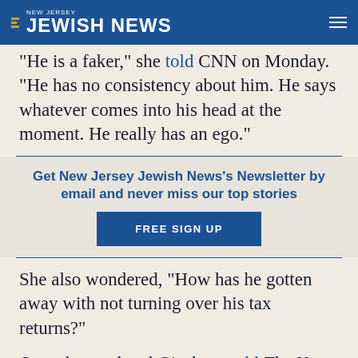New Jersey Jewish News
“He is a faker,” she told CNN on Monday. “He has no consistency about him. He says whatever comes into his head at the moment. He really has an ego.”
Get New Jersey Jewish News’s Newsletter by email and never miss our top stories
FREE SIGN UP
She also wondered, “How has he gotten away with not turning over his tax returns?”
Over the weekend Ginsburg told The New York Times that she did “not even want to contemplate” a